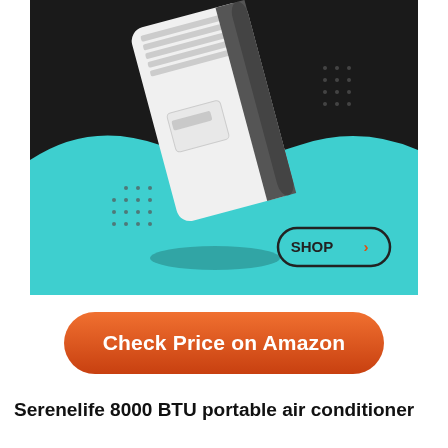[Figure (photo): Serenelife portable air conditioner unit shown at an angle, white body with dark vents at top, floating above a teal wave-shaped background on a dark/black upper background. Decorative dot grid patterns visible. A 'SHOP >' button with rounded border is overlaid on the lower right of the image.]
Check Price on Amazon
Serenelife 8000 BTU portable air conditioner